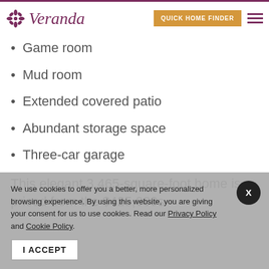Veranda | Quick Home Finder
Game room
Mud room
Extended covered patio
Abundant storage space
Three-car garage
This elegant 3,465-square-foot home is priced from the $425,000s
We use cookies to offer you a better, more personalized browsing experience. By using this website, you are giving your consent for us to use cookies. Read our Privacy Policy and Cookie Policy.